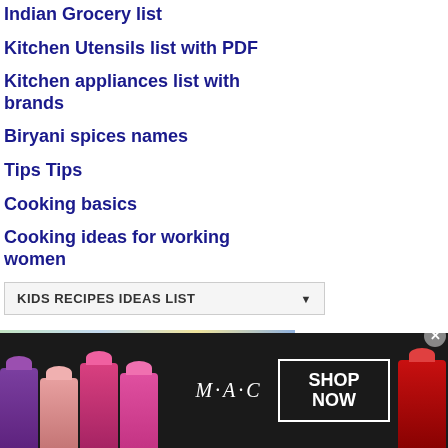Indian Grocery list
Kitchen Utensils list with PDF
Kitchen appliances list with brands
Biryani spices names
Tips Tips
Cooking basics
Cooking ideas for working women
KIDS RECIPES IDEAS LIST
[Figure (photo): MAC cosmetics advertisement showing multiple lipsticks with MAC logo and SHOP NOW button]